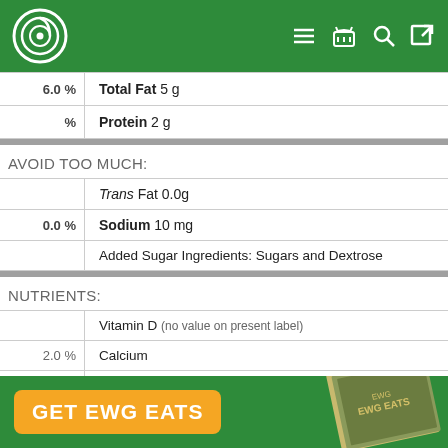[Figure (logo): EWG circular logo in white on green header bar]
| % DV | Nutrient |
| --- | --- |
| 6.0 % | Total Fat 5 g |
| % | Protein 2 g |
AVOID TOO MUCH:
| % DV | Nutrient |
| --- | --- |
|  | Trans Fat 0.0g |
| 0.0 % | Sodium 10 mg |
|  | Added Sugar Ingredients: Sugars and Dextrose |
NUTRIENTS:
| % DV | Nutrient |
| --- | --- |
|  | Vitamin D (no value on present label) |
| 2.0 % | Calcium |
| 4.0 % | Iron |
GET EWG EATS